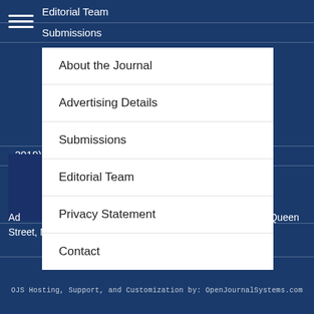Editorial Team
Submissions
Co...
About the Journal
Advertising Details
Submissions
Editorial Team
Privacy Statement
Contact
- 2019)
& Midwifery Federation Level 1, 365 Queen Street, Melbourne VIC 3000, Australia
OJS Hosting, Support, and Customization by: OpenJournalSystems.com